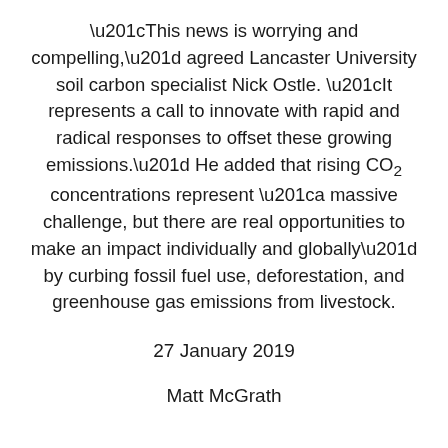“This news is worrying and compelling,” agreed Lancaster University soil carbon specialist Nick Ostle. “It represents a call to innovate with rapid and radical responses to offset these growing emissions.” He added that rising CO2 concentrations represent “a massive challenge, but there are real opportunities to make an impact individually and globally” by curbing fossil fuel use, deforestation, and greenhouse gas emissions from livestock.
27 January 2019
Matt McGrath